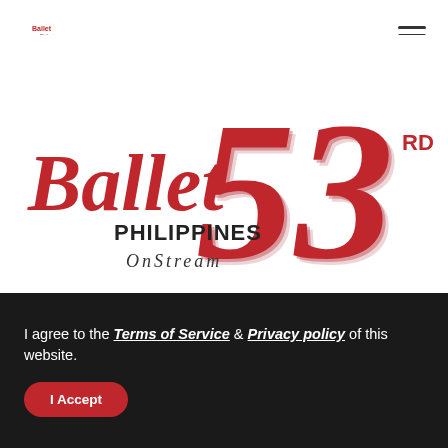[Figure (logo): Ballet Philippines 53rd Season logo in top-left navigation bar, small version with red text and number 53]
[Figure (logo): Large Ballet Philippines OnStream 53rd Season logo in hero area. Large red 3D number '53' on the right, 'Ballet' in large bold red italic font on the left, 'PHILIPPINES' in dark text, 'OnStream' in spaced dark text, 'RD' superscript next to 53, 'SEASON' in spaced caps below]
I agree to the Terms of Service & Privacy policy of this website.
I Accept